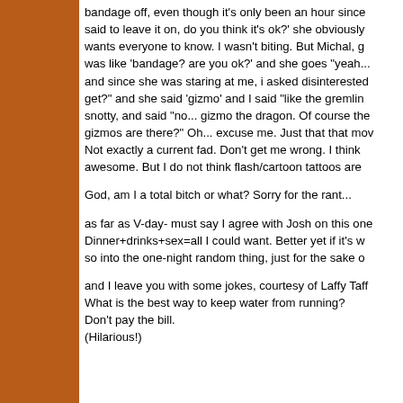bandage off, even though it's only been an hour since said to leave it on, do you think it's ok?' she obviously wants everyone to know. I wasn't biting. But Michal, g was like 'bandage? are you ok?' and she goes "yeah... and since she was staring at me, i asked disinterested get?" and she said 'gizmo' and I said "like the gremlin snotty, and said "no... gizmo the dragon. Of course the gizmos are there?" Oh... excuse me. Just that that mov Not exactly a current fad. Don't get me wrong. I think awesome. But I do not think flash/cartoon tattoos are
God, am I a total bitch or what? Sorry for the rant...
as far as V-day- must say I agree with Josh on this one Dinner+drinks+sex=all I could want. Better yet if it's w so into the one-night random thing, just for the sake o
and I leave you with some jokes, courtesy of Laffy Taff What is the best way to keep water from running?
Don't pay the bill.
(Hilarious!)